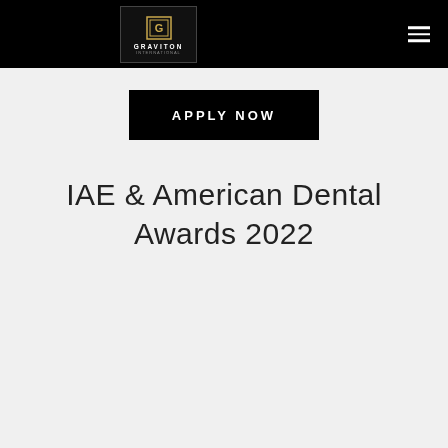Graviton International
[Figure (logo): Graviton International logo — gold square G icon with company name below, on dark background]
APPLY NOW
IAE & American Dental Awards 2022